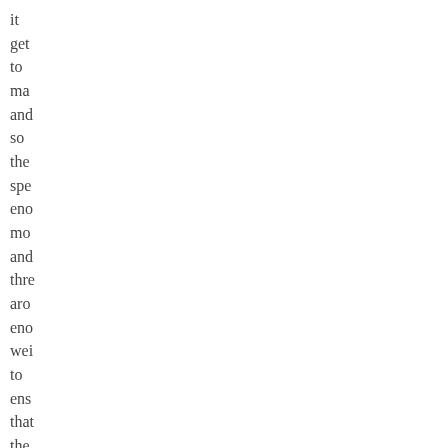it
get
to
ma
and
so
the
spe
eno
mo
and
thre
aro
eno
wei
to
ens
that
the
onl
per
who
cou